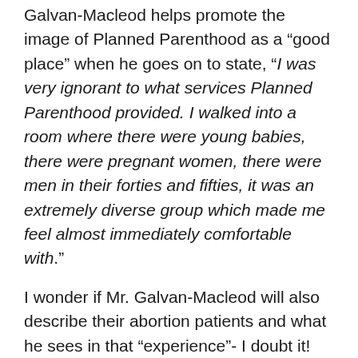Galvan-Macleod helps promote the image of Planned Parenthood as a “good place” when he goes on to state, “I was very ignorant to what services Planned Parenthood provided. I walked into a room where there were young babies, there were pregnant women, there were men in their forties and fifties, it was an extremely diverse group which made me feel almost immediately comfortable with.”
I wonder if Mr. Galvan-Macleod will also describe their abortion patients and what he sees in that “experience”- I doubt it!
The video continues with stories of Planned Parenthood rescuing an incarcerated gang-banger to helping a teen through a painful period, a man with an STD, and a woman with a troubled pregnancy. On the surface, these things look noble, but there is one fact Planned Parenthood keeps insisting that is that the…